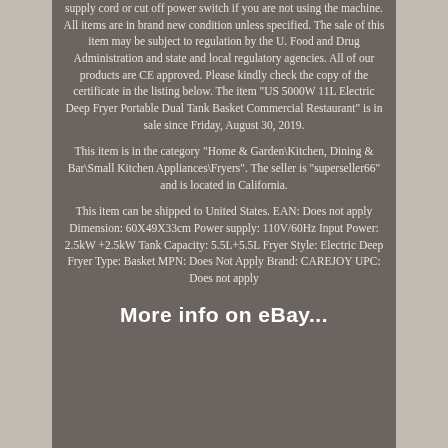supply cord or cut off power switch if you are not using the machine. All items are in brand new condition unless specified. The sale of this item may be subject to regulation by the U. Food and Drug Administration and state and local regulatory agencies. All of our products are CE approved. Please kindly check the copy of the certificate in the listing below. The item "US 5000W 11L Electric Deep Fryer Portable Dual Tank Basket Commercial Restaurant" is in sale since Friday, August 30, 2019.
This item is in the category "Home & Garden\Kitchen, Dining & Bar\Small Kitchen Appliances\Fryers". The seller is "superseller66" and is located in California.
This item can be shipped to United States. EAN: Does not apply Dimension: 60X49X33cm Power supply: 110V/60Hz Input Power: 2.5kW +2.5kW Tank Capacity: 5.5L+5.5L Fryer Style: Electric Deep Fryer Type: Basket MPN: Does Not Apply Brand: CAREJOY UPC: Does not apply
More info on eBay...